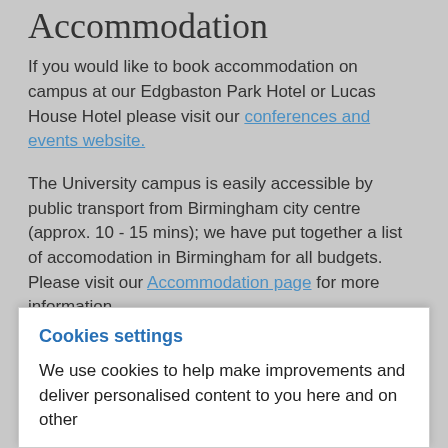Accommodation
If you would like to book accommodation on campus at our Edgbaston Park Hotel or Lucas House Hotel please visit our conferences and events website.
The University campus is easily accessible by public transport from Birmingham city centre (approx. 10 - 15 mins); we have put together a list of accomodation in Birmingham for all budgets. Please visit our Accommodation page for more information.
Venue and travel
The venue for summer school sessions will be confirmed
Cookies settings
We use cookies to help make improvements and deliver personalised content to you here and on other